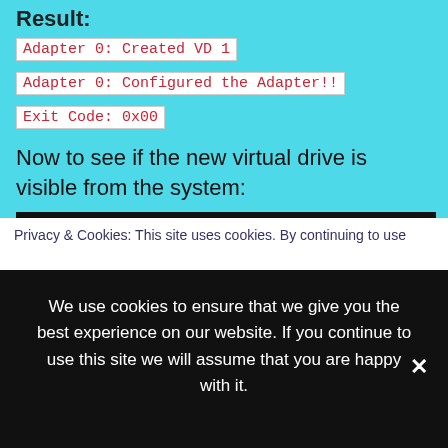Result:
Adapter 0: Created VD 1
Adapter 0: Configured the Adapter!!
Exit Code: 0x00
Now to see if the new virtual drive is visible from the system:
fdisk -l
Result:
(Among the already existing drives here the new SSD drive)
Privacy & Cookies: This site uses cookies. By continuing to use this site...
We use cookies to ensure that we give you the best experience on our website. If you continue to use this site we will assume that you are happy with it.